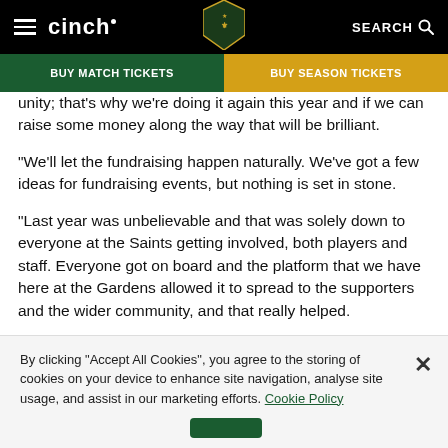cinch | BUY MATCH TICKETS | BUY SEASON TICKETS | SEARCH
unity; that's why we're doing it again this year and if we can raise some money along the way that will be brilliant.
“We'll let the fundraising happen naturally. We’ve got a few ideas for fundraising events, but nothing is set in stone.
“Last year was unbelievable and that was solely down to everyone at the Saints getting involved, both players and staff. Everyone got on board and the platform that we have here at the Gardens allowed it to spread to the supporters and the wider community, and that really helped.
By clicking “Accept All Cookies”, you agree to the storing of cookies on your device to enhance site navigation, analyse site usage, and assist in our marketing efforts. Cookie Policy